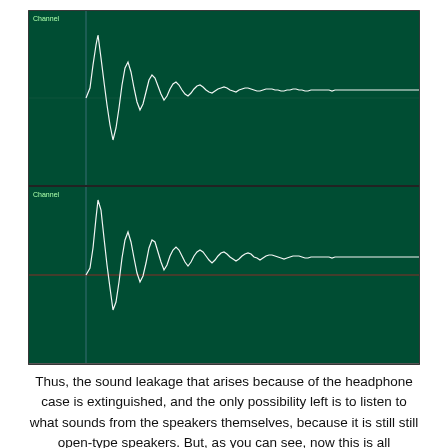[Figure (continuous-plot): Two oscilloscope waveform traces on dark green background. Top panel labeled 'Channel 1' shows a white waveform with high-amplitude oscillations at the left that decay into low-amplitude noise toward the right, with a vertical cursor line near the left. Bottom panel labeled 'Channel 2' shows a similar white waveform with a red horizontal baseline (zero line), exhibiting similar large oscillations that decay into lower-amplitude noise, also with a vertical cursor line near left.]
Thus, the sound leakage that arises because of the headphone case is extinguished, and the only possibility left is to listen to what sounds from the speakers themselves, because it is still still open-type speakers. But, as you can see, now this is all